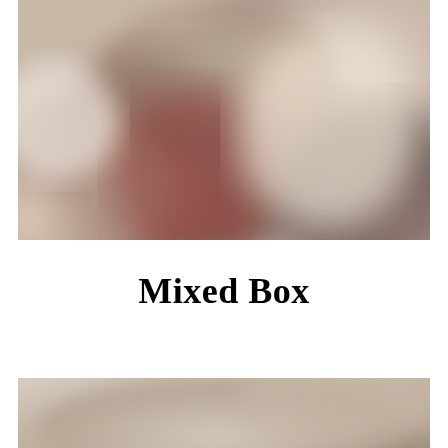[Figure (photo): A blurred close-up photograph showing warm beige, brown, dark red/maroon, and off-white tones — appears to be a product or abstract close-up image.]
Mixed Box
[Figure (photo): A partially visible blurred photograph with warm beige and light tan tones, cropped at the bottom of the page.]